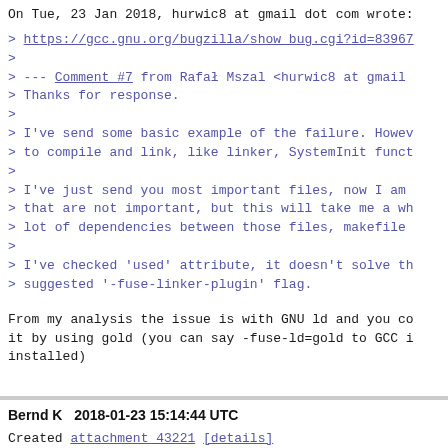On Tue, 23 Jan 2018, hurwic8 at gmail dot com wrote:
> https://gcc.gnu.org/bugzilla/show_bug.cgi?id=83967
>
> --- Comment #7 from Rafał Mszal <hurwic8 at gmail
> Thanks for response.
>
> I've send some basic example of the failure. Howev
> to compile and link, like linker, SystemInit funct
>
> I've just send you most important files, now I am
> that are not important, but this will take me a wh
> lot of dependencies between those files, makefile
>
> I've checked 'used' attribute, it doesn't solve th
> suggested '-fuse-linker-plugin' flag.
From my analysis the issue is with GNU ld and you co
it by using gold (you can say -fuse-ld=gold to GCC i
installed)
Bernd K    2018-01-23 15:14:44 UTC
Created attachment 43221 [details]
self contained demo
I have made a minimal self contained project that de
with arm-none-eabi-gcc compiling for a Cortex M0+ ta